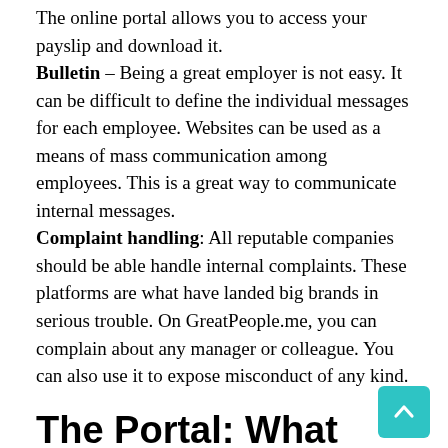The online portal allows you to access your payslip and download it. Bulletin – Being a great employer is not easy. It can be difficult to define the individual messages for each employee. Websites can be used as a means of mass communication among employees. This is a great way to communicate internal messages. Complaint handling: All reputable companies should be able handle internal complaints. These platforms are what have landed big brands in serious trouble. On GreatPeople.me, you can complain about any manager or colleague. You can also use it to expose misconduct of any kind.
The Portal: What You Need to Know.
Each employee, or employee working in different